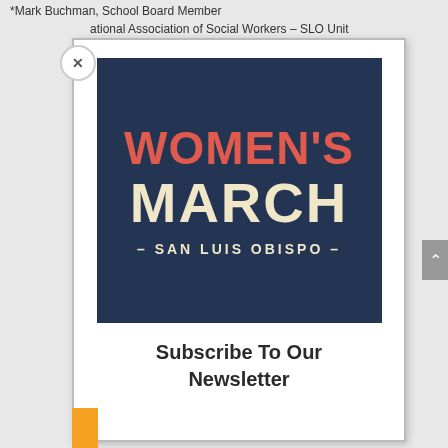*Mark Buchman, School Board Member
ational Association of Social Workers – SLO Unit
[Figure (logo): Women's March San Luis Obispo logo — dark navy blue background with WOMEN'S in red/coral bold text and MARCH in cream/beige bold text, with - SAN LUIS OBISPO - in smaller spaced cream text below]
Subscribe To Our Newsletter